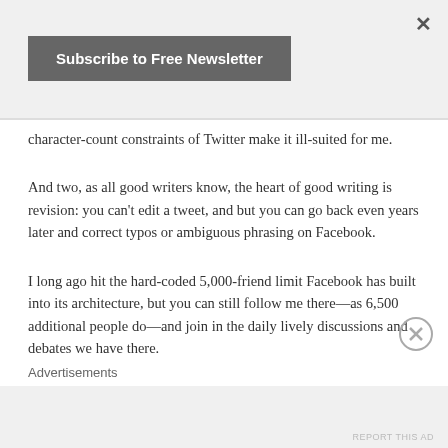×
[Figure (other): Subscribe to Free Newsletter button — dark grey rounded rectangle with white bold text]
character-count constraints of Twitter make it ill-suited for me.
And two, as all good writers know, the heart of good writing is revision: you can't edit a tweet, and but you can go back even years later and correct typos or ambiguous phrasing on Facebook.
I long ago hit the hard-coded 5,000-friend limit Facebook has built into its architecture, but you can still follow me there—as 6,500 additional people do—and join in the daily lively discussions and debates we have there.
Advertisements